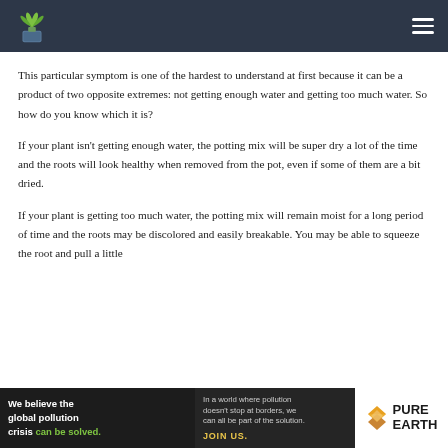Plant care website header with logo and hamburger menu
This particular symptom is one of the hardest to understand at first because it can be a product of two opposite extremes: not getting enough water and getting too much water. So how do you know which it is?
If your plant isn't getting enough water, the potting mix will be super dry a lot of the time and the roots will look healthy when removed from the pot, even if some of them are a bit dried.
If your plant is getting too much water, the potting mix will remain moist for a long period of time and the roots may be discolored and easily breakable. You may be able to squeeze the root and pull a little
[Figure (other): Pure Earth advertisement banner: 'We believe the global pollution crisis can be solved. In a world where pollution doesn't stop at borders, we can all be part of the solution. JOIN US. PURE EARTH' with diamond logo]